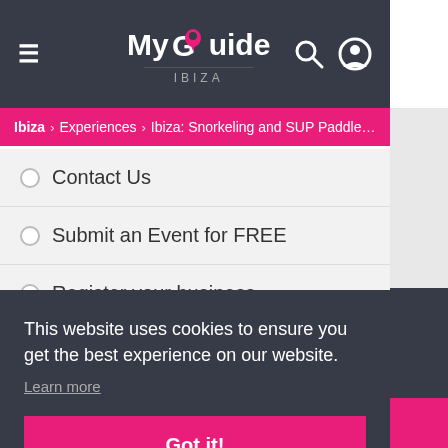My Guide IBIZA — navigation header with hamburger menu, search and account icons
Ibiza > Experiences > Ibiza: Snorkeling and SUP Paddle, Beach a...
Contact Us
Submit an Event for FREE
Register your business
This website uses cookies to ensure you get the best experience on our website.
Learn more
Got it!